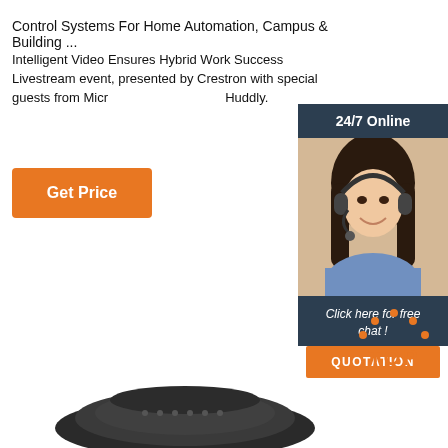Control Systems For Home Automation, Campus & Building ...
Intelligent Video Ensures Hybrid Work Success Livestream event, presented by Crestron with special guests from Microsoft, Logitech, and Huddly.
[Figure (other): Orange 'Get Price' button]
[Figure (other): Side widget with dark navy background showing '24/7 Online' header, photo of woman with headset, 'Click here for free chat!' text, and orange QUOTATION button]
[Figure (other): Orange TOP button with dots arranged in arc above text 'TOP']
[Figure (other): Bottom portion showing a dark device (speaker/conference device)]